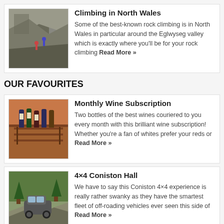[Figure (photo): Rock climbing scene in North Wales, grey rocky cliff face]
Climbing in North Wales
Some of the best-known rock climbing is in North Wales in particular around the Eglwyseg valley which is exactly where you'll be for your rock climbing Read More »
OUR FAVOURITES
[Figure (photo): Wine bottles on a rack/display, warm brown tones]
Monthly Wine Subscription
Two bottles of the best wines couriered to you every month with this brilliant wine subscription! Whether you're a fan of whites prefer your reds or Read More »
[Figure (photo): 4x4 vehicle on rocky terrain with trees]
4×4 Coniston Hall
We have to say this Coniston 4×4 experience is really rather swanky as they have the smartest fleet of off-roading vehicles ever seen this side of Read More »
[Figure (photo): Aerial view of Leicestershire landscape with water]
Leicestershire Flights and Tours
Get a bird's eye view with these Leicestershire sightseeing helitours! Now Leicester might not be top of the list when it